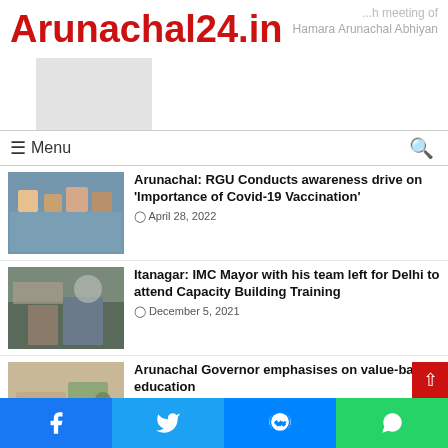Arunachal24.in
...h meeting of Hamara Arunachal Abhiyan
≡ Menu
Arunachal: RGU Conducts awareness drive on 'Importance of Covid-19 Vaccination'
April 28, 2022
Itanagar: IMC Mayor with his team left for Delhi to attend Capacity Building Training
December 5, 2021
Arunachal Governor emphasises on value-based education
March 24, 2022
Misuse of Passenger waiting shed
Facebook | Twitter | Messenger | WhatsApp